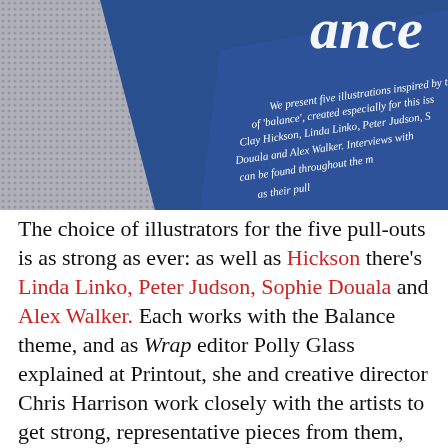[Figure (photo): Photograph of a blue book/magazine cover tilted at an angle, showing white italic text reading 'We present five illustrations inspired by the of balance, created especially for this iss Clay Hickson, Linda Linko, Peter Judson, S Douala and Alex Walker. Interviews with can be found throughout the m as their pull' — partially obscured text on the cover. The top right corner shows the word 'ance' in large white letters.]
The choice of illustrators for the five pull-outs is as strong as ever: as well as Hickson there's Linda Linko, Peter Judson, Sophie Douala and Alex Walker. Each works with the Balance theme, and as Wrap editor Polly Glass explained at Printout, she and creative director Chris Harrison work closely with the artists to get strong, representative pieces from them, and as these close-ups indicate, the